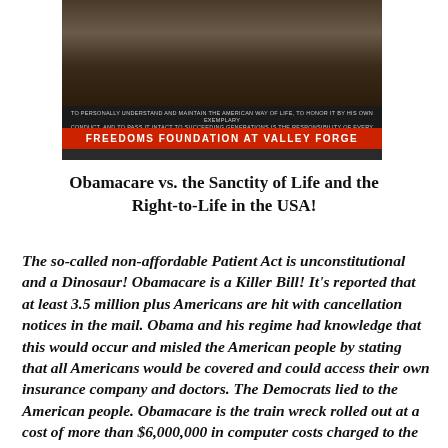[Figure (photo): Photo of a crowd/historical scene with a banner strip reading small italic text and a red bar at the bottom reading 'FREEDOMS FOUNDATION AT VALLEY FORGE']
Obamacare vs. the Sanctity of Life and the Right-to-Life in the USA!
The so-called non-affordable Patient Act is unconstitutional and a Dinosaur!  Obamacare is a Killer Bill!  It's reported that at least 3.5 million plus Americans are hit with cancellation notices in the mail.   Obama and his regime had knowledge that this would occur and misled the American people by stating that all Americans would be covered and could access their own insurance company and doctors.  The Democrats lied to the American people. Obamacare is the train wreck rolled out at a cost of more than $6,000,000 in computer costs charged to the